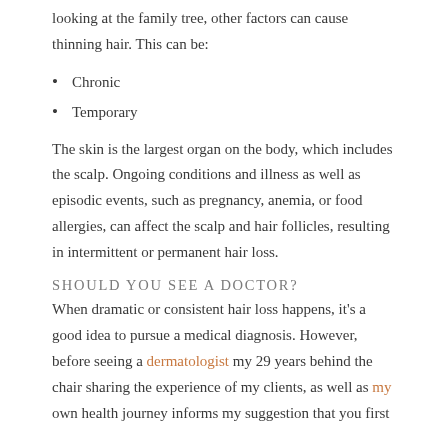looking at the family tree, other factors can cause thinning hair. This can be:
Chronic
Temporary
The skin is the largest organ on the body, which includes the scalp. Ongoing conditions and illness as well as episodic events, such as pregnancy, anemia, or food allergies, can affect the scalp and hair follicles, resulting in intermittent or permanent hair loss.
SHOULD YOU SEE A DOCTOR?
When dramatic or consistent hair loss happens, it's a good idea to pursue a medical diagnosis. However, before seeing a dermatologist my 29 years behind the chair sharing the experience of my clients, as well as my own health journey informs my suggestion that you first